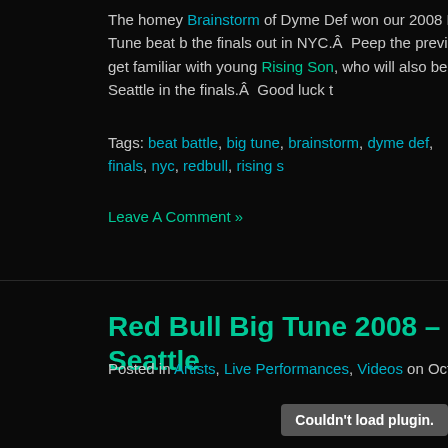The homey Brainstorm of Dyme Def won our 2008 Redbull Big Tune beat b... the finals out in NYC.Â  Peep the preview video and get familiar with young Rising Son, who will also be representing Seattle in the finals.Â  Good luck t...
Tags: beat battle, big tune, brainstorm, dyme def, finals, nyc, redbull, rising s...
Leave A Comment »
Red Bull Big Tune 2008 – Seattle
Posted in Artists, Live Performances, Videos on October 22nd, 2008 by Hyp...
[Figure (other): Embedded media plugin area showing 'Couldn't load plugin.' error message]